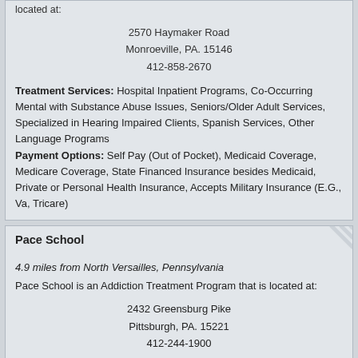located at:

2570 Haymaker Road
Monroeville, PA. 15146
412-858-2670

Treatment Services: Hospital Inpatient Programs, Co-Occurring Mental with Substance Abuse Issues, Seniors/Older Adult Services, Specialized in Hearing Impaired Clients, Spanish Services, Other Language Programs
Payment Options: Self Pay (Out of Pocket), Medicaid Coverage, Medicare Coverage, State Financed Insurance besides Medicaid, Private or Personal Health Insurance, Accepts Military Insurance (E.G., Va, Tricare)
Pace School
4.9 miles from North Versailles, Pennsylvania
Pace School is an Addiction Treatment Program that is located at:

2432 Greensburg Pike
Pittsburgh, PA. 15221
412-244-1900

Treatment Services: Limited Hospitalization/Day Treatment Programs
Payment Options: Medicaid Coverage
POWER House
Chat now